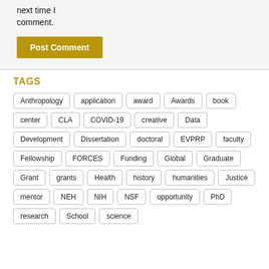next time I comment.
Post Comment
TAGS
Anthropology
application
award
Awards
book
center
CLA
COVID-19
creative
Data
Development
Dissertation
doctoral
EVPRP
faculty
Fellowship
FORCES
Funding
Global
Graduate
Grant
grants
Health
history
humanities
Justice
mentor
NEH
NIH
NSF
opportunity
PhD
research
School
science